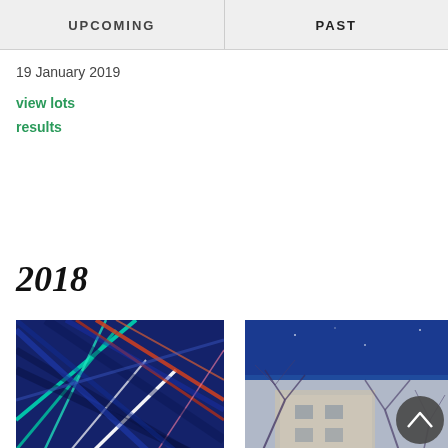UPCOMING | PAST
19 January 2019
view lots
results
2018
[Figure (photo): Abstract artwork with colorful diagonal lines on blue background]
[Figure (photo): Painting of a building with bare trees in blue tones, with a scroll-up button overlay]